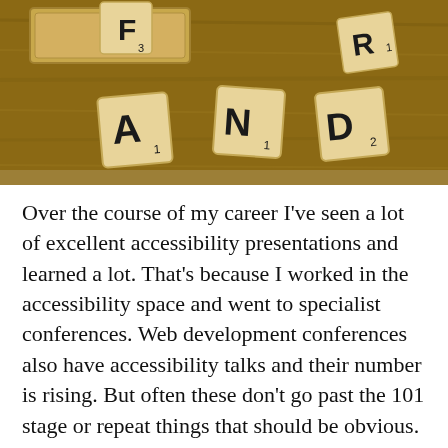[Figure (photo): Scrabble tiles spelling letters A, N, D, R, F scattered on a wooden surface with a Scrabble tile holder in the background]
Over the course of my career I've seen a lot of excellent accessibility presentations and learned a lot. That's because I worked in the accessibility space and went to specialist conferences. Web development conferences also have accessibility talks and their number is rising. But often these don't go past the 101 stage or repeat things that should be obvious. Alas, many of these things aren't obvious to the average designer/developer. The reason could be a thing I'm calling the